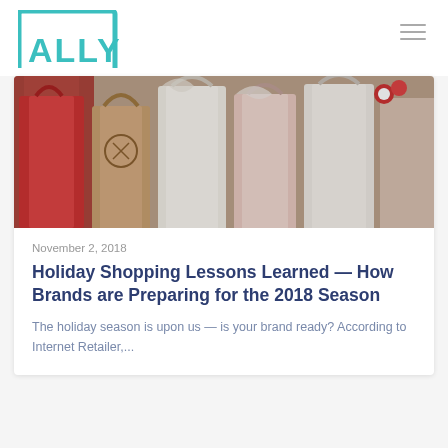[Figure (logo): Ally Commerce logo — teal square bracket design with 'ALLY' in bold and 'COMMERCE' below in smaller caps]
[Figure (photo): Holiday shopping bags in red, white, pink, and kraft brown hanging on a rack — festive gift bags with decorative tissue paper]
November 2, 2018
Holiday Shopping Lessons Learned — How Brands are Preparing for the 2018 Season
The holiday season is upon us — is your brand ready? According to Internet Retailer,...